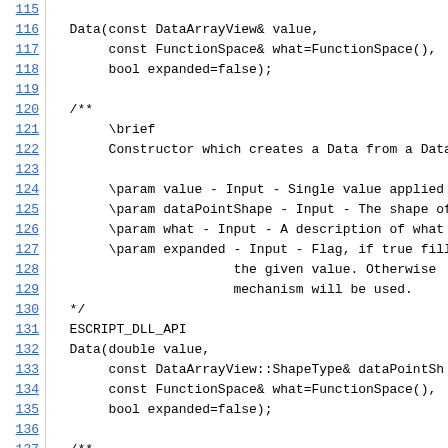Code listing lines 115-137 showing C++ source code with Doxygen comments for Data class constructors
115: (partial line, truncated)
116: Data(const DataArrayView& value,
117:      const FunctionSpace& what=FunctionSpace(),
118:      bool expanded=false);
119: (blank)
120: /**
121:      \brief
122:      Constructor which creates a Data from a DataA
123: (blank)
124:      \param value - Input - Single value applied t
125:      \param dataPointShape - Input - The shape of
126:      \param what - Input - A description of what t
127:      \param expanded - Input - Flag, if true fill
128:                      the given value. Otherwise
129:                      mechanism will be used.
130:  */
131:  ESCRIPT_DLL_API
132:  Data(double value,
133:       const DataArrayView::ShapeType& dataPointSh
134:       const FunctionSpace& what=FunctionSpace(),
135:       bool expanded=false);
136: (blank)
137:  /**